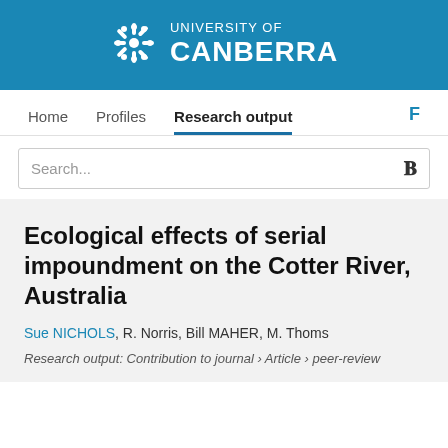UNIVERSITY OF CANBERRA
Home   Profiles   Research output   F
Search...
Ecological effects of serial impoundment on the Cotter River, Australia
Sue NICHOLS, R. Norris, Bill MAHER, M. Thoms
Research output: Contribution to journal › Article › peer-review